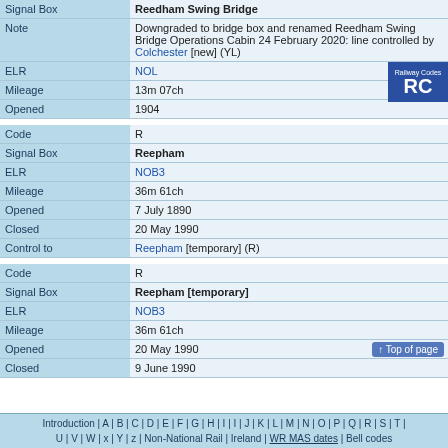| Field | Value |
| --- | --- |
| Signal Box | Reedham Swing Bridge |
| Note | Downgraded to bridge box and renamed Reedham Swing Bridge Operations Cabin 24 February 2020: line controlled by Colchester [new] (YL) |
| ELR | NOL |
| Mileage | 13m 07ch |
| Opened | 1904 |
| Code | R |
| Signal Box | Reepham |
| ELR | NOB3 |
| Mileage | 36m 61ch |
| Opened | 7 July 1890 |
| Closed | 20 May 1990 |
| Control to | Reepham [temporary] (R) |
| Code | R |
| Signal Box | Reepham [temporary] |
| ELR | NOB3 |
| Mileage | 36m 61ch |
| Opened | 20 May 1990 |
| Closed | 9 June 1990 |
Introduction | A | B | C | D | E | F | G | H | I | J | K | L | M | N | O | P | Q | R | S | T | U | V | W | x | Y | z | Non-National Rail | Ireland | WR MAS dates | Bell codes